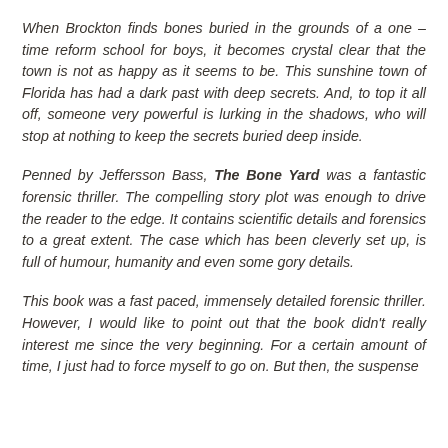When Brockton finds bones buried in the grounds of a one – time reform school for boys, it becomes crystal clear that the town is not as happy as it seems to be. This sunshine town of Florida has had a dark past with deep secrets. And, to top it all off, someone very powerful is lurking in the shadows, who will stop at nothing to keep the secrets buried deep inside.
Penned by Jeffersson Bass, The Bone Yard was a fantastic forensic thriller. The compelling story plot was enough to drive the reader to the edge. It contains scientific details and forensics to a great extent. The case which has been cleverly set up, is full of humour, humanity and even some gory details.
This book was a fast paced, immensely detailed forensic thriller. However, I would like to point out that the book didn't really interest me since the very beginning. For a certain amount of time, I just had to force myself to go on. But then, the suspense